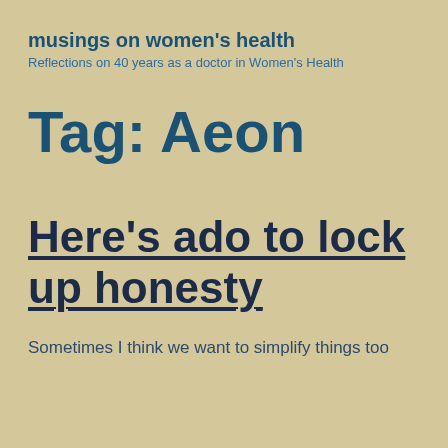musings on women's health
Reflections on 40 years as a doctor in Women's Health
Tag: Aeon
Here's ado to lock up honesty
Sometimes I think we want to simplify things too